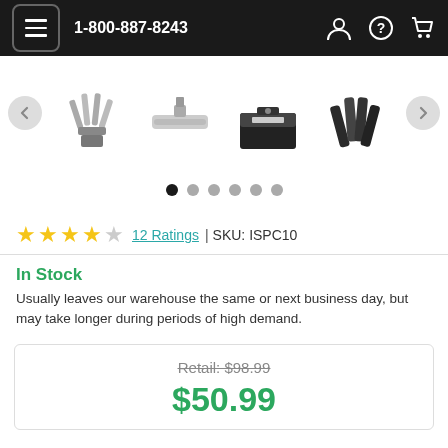1-800-887-8243
[Figure (photo): Product image carousel showing four tool/kit images with left and right navigation arrows and six dot indicators]
12 Ratings | SKU: ISPC10
In Stock
Usually leaves our warehouse the same or next business day, but may take longer during periods of high demand.
Retail: $98.99
$50.99